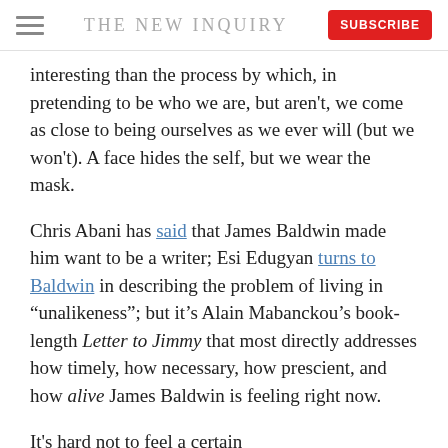THE NEW INQUIRY
interesting than the process by which, in pretending to be who we are, but aren't, we come as close to being ourselves as we ever will (but we won't). A face hides the self, but we wear the mask.
Chris Abani has said that James Baldwin made him want to be a writer; Esi Edugyan turns to Baldwin in describing the problem of living in “unalikeness”; but it’s Alain Mabanckou’s book-length Letter to Jimmy that most directly addresses how timely, how necessary, how prescient, and how alive James Baldwin is feeling right now.
It's hard not to feel a certain